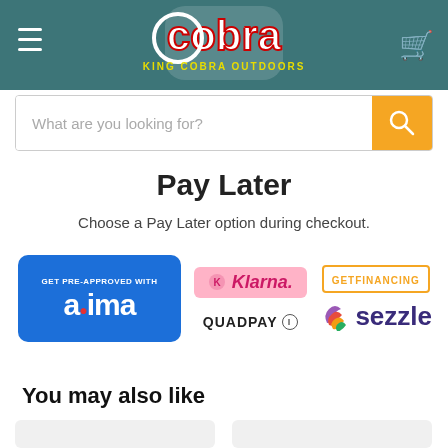[Figure (logo): King Cobra Outdoors logo on teal header with hamburger menu and cart icon]
What are you looking for?
Pay Later
Choose a Pay Later option during checkout.
[Figure (logo): Payment logos: acima (Get Pre-Approved With), Klarna, Quadpay, GetFinancing, Sezzle]
You may also like